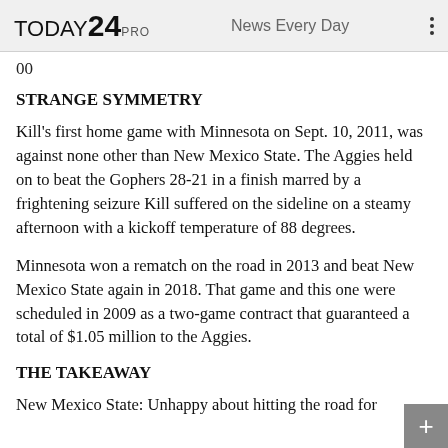TODAY24 PRO  News Every Day
00
STRANGE SYMMETRY
Kill's first home game with Minnesota on Sept. 10, 2011, was against none other than New Mexico State. The Aggies held on to beat the Gophers 28-21 in a finish marred by a frightening seizure Kill suffered on the sideline on a steamy afternoon with a kickoff temperature of 88 degrees.
Minnesota won a rematch on the road in 2013 and beat New Mexico State again in 2018. That game and this one were scheduled in 2009 as a two-game contract that guaranteed a total of $1.05 million to the Aggies.
THE TAKEAWAY
New Mexico State: Unhappy about hitting the road for